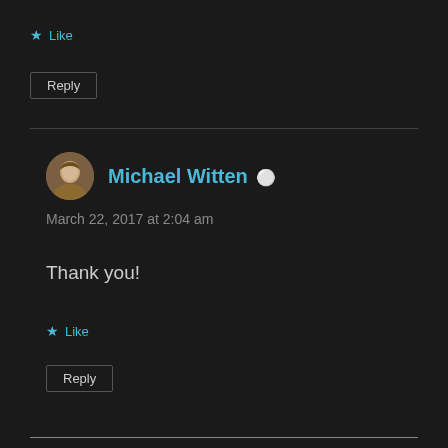★ Like
Reply
Michael Witten 👤
March 22, 2017 at 2:04 am
Thank you!
★ Like
Reply